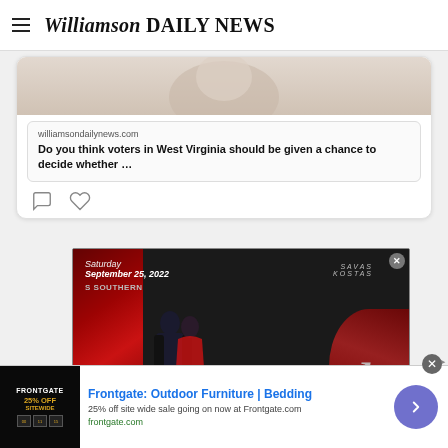Williamson DAILY NEWS
[Figure (screenshot): Social media card showing partial image of a person, link preview from williamsondailynews.com with headline: Do you think voters in West Virginia should be given a chance to decide whether … with comment and like icons below]
[Figure (photo): Advertisement for Saturday September 25, 2022 Southern Savas Kostas Gala, showing a couple dancing with red roses background and large stylized Gala text]
[Figure (screenshot): Bottom banner advertisement for Frontgate: Outdoor Furniture | Bedding — 25% off site wide sale going on now at Frontgate.com — frontgate.com — with blue arrow button and close X button]